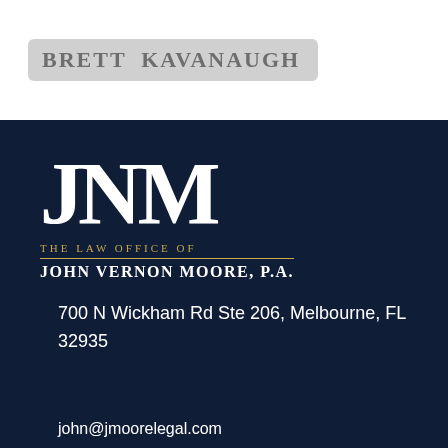[Figure (logo): Partially visible gray banner/logo in the top white section of the page]
[Figure (logo): JNM monogram logo for The Law Office of John Vernon Moore, P.A. — large serif white letters JNM on dark navy background with firm name below]
700 N Wickham Rd Ste 206, Melbourne, FL 32935
john@jmoorelegal.com